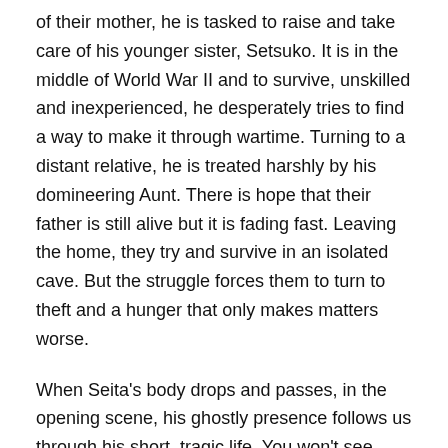of their mother, he is tasked to raise and take care of his younger sister, Setsuko. It is in the middle of World War II and to survive, unskilled and inexperienced, he desperately tries to find a way to make it through wartime. Turning to a distant relative, he is treated harshly by his domineering Aunt. There is hope that their father is still alive but it is fading fast. Leaving the home, they try and survive in an isolated cave. But the struggle forces them to turn to theft and a hunger that only makes matters worse.
When Seita's body drops and passes, in the opening scene, his ghostly presence follows us through his short, tragic life. You won't see Disney or Pixar take on such a bold position and, as a World War II story told from the civilians of Japan, it is a far cry from the gun-toting Americans and British fighters that dominate mainstream cinema. Grave of the Fireflies is often considered among the greatest war movies